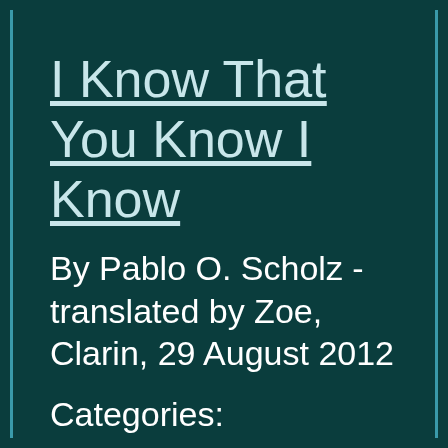I Know That You Know I Know
By Pablo O. Scholz - translated by Zoe, Clarin, 29 August 2012
Categories: